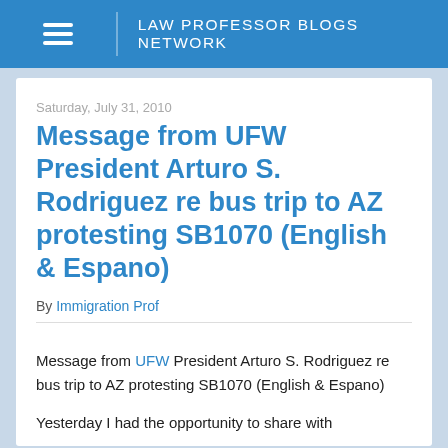LAW PROFESSOR BLOGS NETWORK
Saturday, July 31, 2010
Message from UFW President Arturo S. Rodriguez re bus trip to AZ protesting SB1070 (English & Espano)
By Immigration Prof
Message from UFW President Arturo S. Rodriguez re bus trip to AZ protesting SB1070 (English & Espano)
Yesterday I had the opportunity to share with...